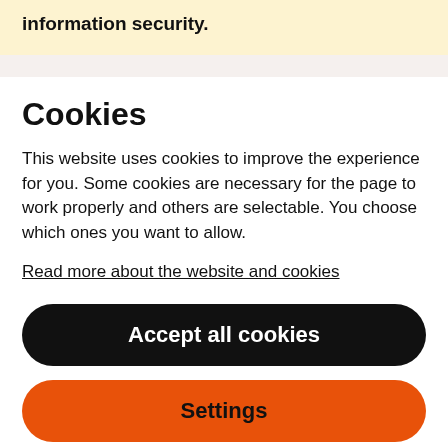information security.
Cookies
This website uses cookies to improve the experience for you. Some cookies are necessary for the page to work properly and others are selectable. You choose which ones you want to allow.
Read more about the website and cookies
Accept all cookies
Settings